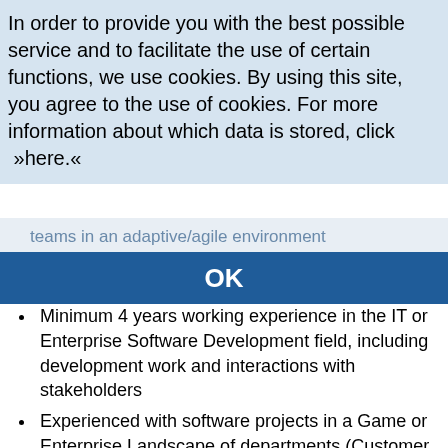In order to provide you with the best possible service and to facilitate the use of certain functions, we use cookies. By using this site, you agree to the use of cookies. For more information about which data is stored, click  »here.«
teams in an adaptive/agile environment
OK
Minimum 4 years working experience in the IT or Enterprise Software Development field, including development work and interactions with stakeholders
Experienced with software projects in a Game or Enterprise Landscape of departments (Customer Support, Sales, marketing, product development, etc), technologies (Java Enterprise, .Net, etc.) and platforms (CRM, Customer Support, B2C, B2B, etc.)
Experienced in using various scheduling tools (e.g. MS Project, MS Excel, Jira)
Experienced in using MS Office Applications